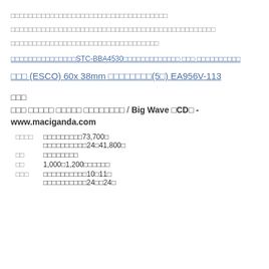□□□□□□□□□□□□□□□□□□□□□□□□□□□□□□□□□□□□
□□□□□□□□□□□□□□□□□□□□□□□□□□□□□□□□□□□□□□□□□□□□□□□
□□□□□□□□□□□□□□□□□□□□□□□□□□□□□□□□□□
□□□□□□□□□□□□□□□STC-BBA4530□□□□□□□□□□□□□ □□□ □□□□□□□□□□
□□□ (ESCO) 60x 38mm □□□□□□□□(5□) EA956V-113
□□□
□□□ □□□□□ □□□□□ □□□□□□□□ / Big Wave □CD□ - www.maciganda.com
| □□□□ | □□□□□□□□□73,700□
□□□□□□□□□□24□41,800□ |
| □□ | □□□□□□□□ |
| □□ | 1,000□1,200□□□□□□ |
| □□□ | □□□□□□□□□□10□11□
□□□□□□□□□□24□□24□ |